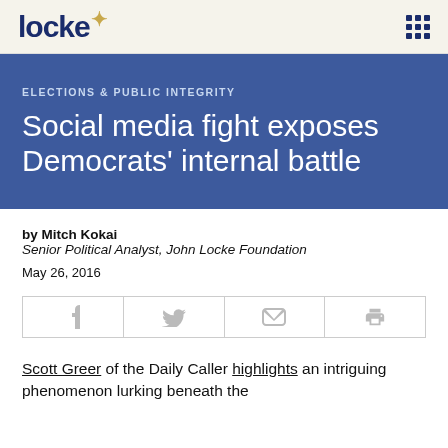locke
ELECTIONS & PUBLIC INTEGRITY
Social media fight exposes Democrats' internal battle
by Mitch Kokai
Senior Political Analyst, John Locke Foundation
May 26, 2016
[Figure (infographic): Social share buttons bar with icons for Facebook, Twitter, email, and print]
Scott Greer of the Daily Caller highlights an intriguing phenomenon lurking beneath the